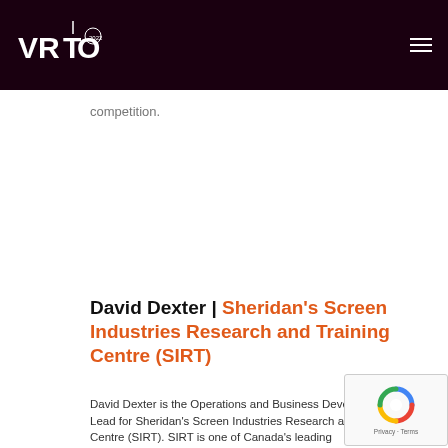VRTO 2022 logo header with hamburger menu
competition.
David Dexter | Sheridan's Screen Industries Research and Training Centre (SIRT)
David Dexter is the Operations and Business Development Lead for Sheridan's Screen Industries Research and Training Centre (SIRT). SIRT is one of Canada's leading